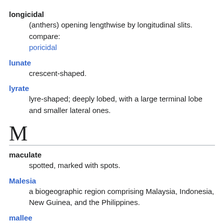longicidal
(anthers) opening lengthwise by longitudinal slits. compare: poricidal
lunate
crescent-shaped.
lyrate
lyre-shaped; deeply lobed, with a large terminal lobe and smaller lateral ones.
M
maculate
spotted, marked with spots.
Malesia
a biogeographic region comprising Malaysia, Indonesia, New Guinea, and the Philippines.
mallee
growth habit in which several woody stems arise separately from a lignotuber; a plant with such a growth habit, e.g. many